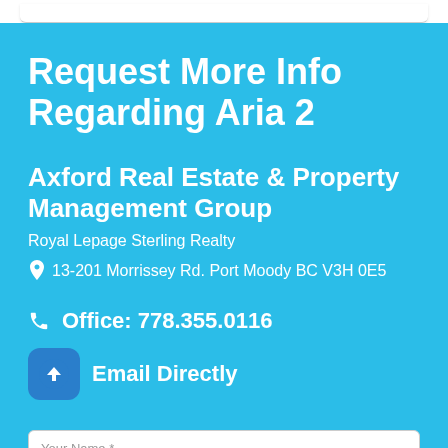Request More Info Regarding Aria 2
Axford Real Estate & Property Management Group
Royal Lepage Sterling Realty
13-201 Morrissey Rd. Port Moody BC V3H 0E5
Office: 778.355.0116
Email Directly